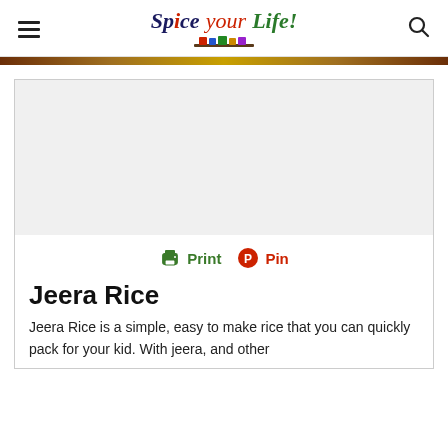Spice your Life! [logo with hamburger menu and search icon]
[Figure (screenshot): Decorative horizontal bar with brown/gold gradient]
[Figure (other): Advertisement placeholder box (gray area)]
Print  Pin
Jeera Rice
Jeera Rice is a simple, easy to make rice that you can quickly pack for your kid. With jeera, and other